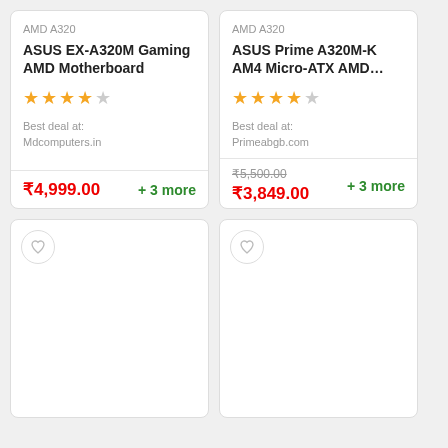AMD A320
ASUS EX-A320M Gaming AMD Motherboard
[Figure (other): 4 out of 5 star rating]
Best deal at: Mdcomputers.in
₹4,999.00  + 3 more
AMD A320
ASUS Prime A320M-K AM4 Micro-ATX AMD...
[Figure (other): 4 out of 5 star rating]
Best deal at: Primeabgb.com
₹5,500.00 (original) ₹3,849.00  + 3 more
[Figure (other): Product card placeholder with heart icon]
[Figure (other): Product card placeholder with heart icon]